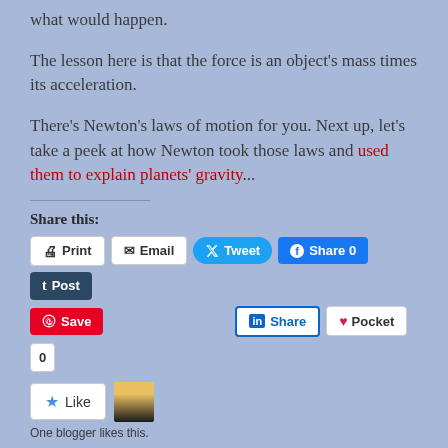what would happen.
The lesson here is that the force is an object's mass times its acceleration.
There's Newton's laws of motion for you. Next up, let's take a peek at how Newton took those laws and used them to explain planets' gravity...
Share this:
[Figure (other): Social sharing buttons: Print, Email, Tweet, Share 0, Post, Save, Share (LinkedIn), Pocket 0]
[Figure (other): Like button with star icon and avatar thumbnail]
One blogger likes this.